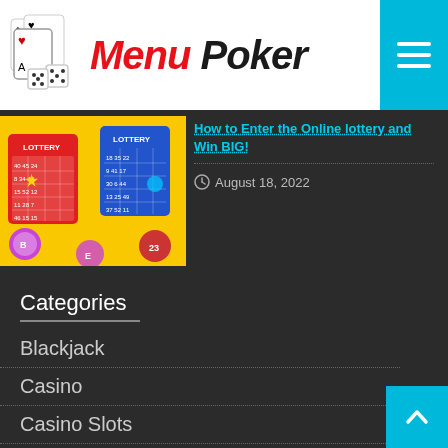Menu Poker
[Figure (screenshot): Lottery cards with bingo balls on yellow background]
How to Enter the Online lottery and Win BIG!
August 18, 2022
Categories
Blackjack
Casino
Casino Slots
Featured
Gambling